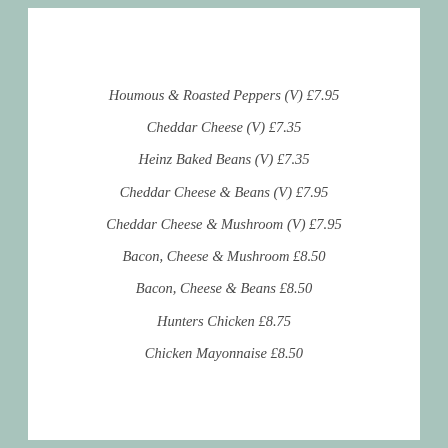Houmous & Roasted Peppers (V) £7.95
Cheddar Cheese (V) £7.35
Heinz Baked Beans (V) £7.35
Cheddar Cheese & Beans (V) £7.95
Cheddar Cheese & Mushroom (V) £7.95
Bacon, Cheese & Mushroom £8.50
Bacon, Cheese & Beans £8.50
Hunters Chicken £8.75
Chicken Mayonnaise £8.50